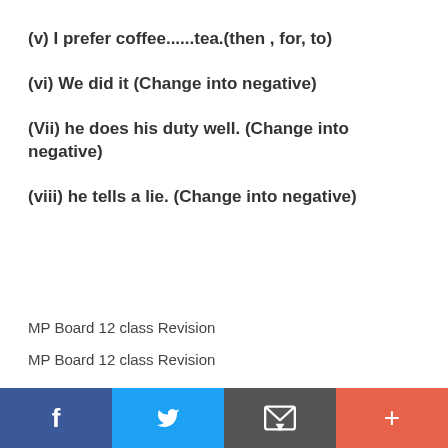(v) I prefer coffee......tea.(then , for, to)
(vi) We did it (Change into negative)
(Vii) he does his duty well. (Change into negative)
(viii) he tells a lie. (Change into negative)
MP Board 12 class Revision
MP Board 12 class Revision
f  [twitter]  [email]  +